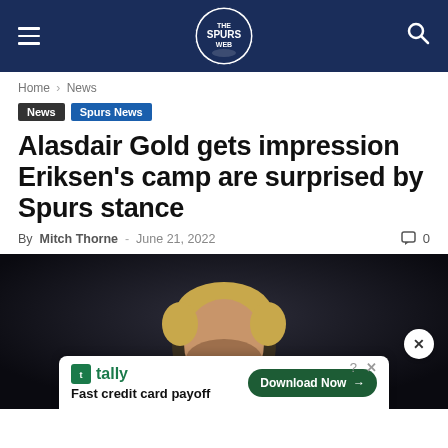Spurs Web – navigation header with logo
Home › News
News  Spurs News
Alasdair Gold gets impression Eriksen's camp are surprised by Spurs stance
By Mitch Thorne - June 21, 2022  0
[Figure (photo): Close-up photo of a blonde male footballer (Christian Eriksen) with dark background]
tally – Fast credit card payoff – Download Now (advertisement)